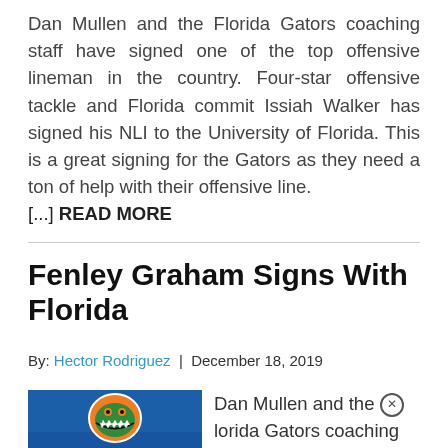Dan Mullen and the Florida Gators coaching staff have signed one of the top offensive lineman in the country. Four-star offensive tackle and Florida commit Issiah Walker has signed his NLI to the University of Florida. This is a great signing for the Gators as they need a ton of help with their offensive line. [...] READ MORE
Fenley Graham Signs With Florida
By: Hector Rodriguez | December 18, 2019
[Figure (photo): Florida Gators logo on a blue chair/seat — orange alligator mascot on blue background]
Dan Mullen and the Florida Gators coaching staff have signed one of the top